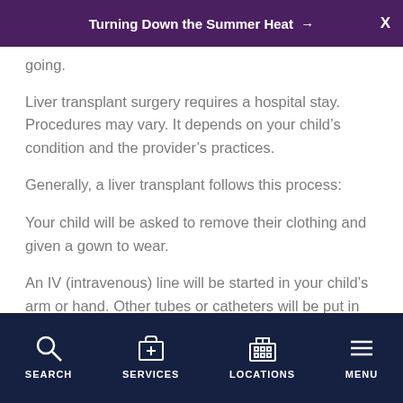Turning Down the Summer Heat →
going.
Liver transplant surgery requires a hospital stay. Procedures may vary. It depends on your child's condition and the provider's practices.
Generally, a liver transplant follows this process:
Your child will be asked to remove their clothing and given a gown to wear.
An IV (intravenous) line will be started in your child's arm or hand. Other tubes or catheters will be put in the
SEARCH   SERVICES   LOCATIONS   MENU